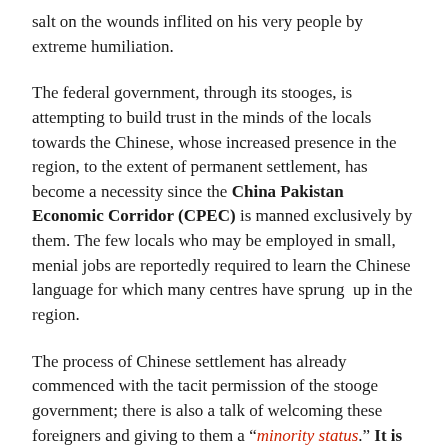salt on the wounds inflited on his very people by extreme humiliation.
The federal government, through its stooges, is attempting to build trust in the minds of the locals towards the Chinese, whose increased presence in the region, to the extent of permanent settlement, has become a necessity since the China Pakistan Economic Corridor (CPEC) is manned exclusively by them. The few locals who may be employed in small, menial jobs are reportedly required to learn the Chinese language for which many centres have sprung up in the region.
The process of Chinese settlement has already commenced with the tacit permission of the stooge government; there is also a talk of welcoming these foreigners and giving to them a “minority status.” It is just a matter of time before the Chinese will come in enough numbers to change the